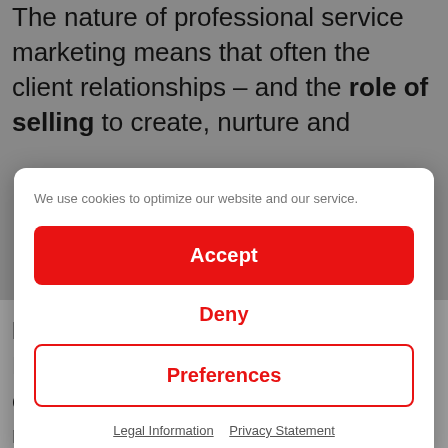The nature of professional service marketing means that often the client relationships – and the role of selling to create, nurture and
We use cookies to optimize our website and our service.
Accept
Deny
Preferences
Legal Information   Privacy Statement
key activities to support this. And M&BD assistants can make a huge contribution in research and information management as well